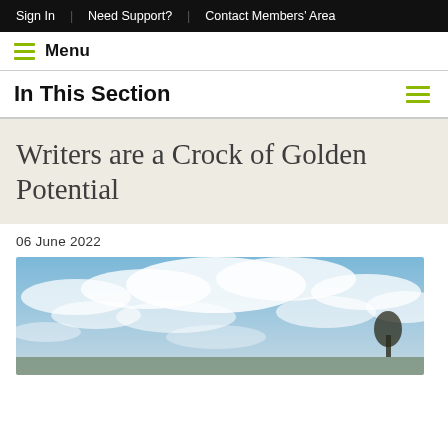Sign In  |  Need Support?  |  Contact Members' Area
Menu
In This Section
Writers are a Crock of Golden Potential
06 June 2022
[Figure (photo): Sky with blue patches and white clouds, with tree silhouette at bottom right]